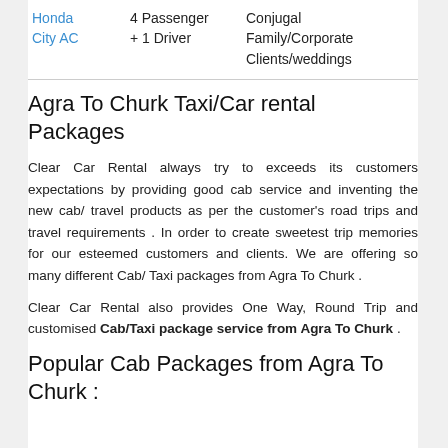| Honda City AC | 4 Passenger + 1 Driver | Conjugal
Family/Corporate Clients/weddings |
Agra To Churk Taxi/Car rental Packages
Clear Car Rental always try to exceeds its customers expectations by providing good cab service and inventing the new cab/ travel products as per the customer’s road trips and travel requirements . In order to create sweetest trip memories for our esteemed customers and clients. We are offering so many different Cab/ Taxi packages from Agra To Churk .
Clear Car Rental also provides One Way, Round Trip and customised Cab/Taxi package service from Agra To Churk .
Popular Cab Packages from Agra To Churk :